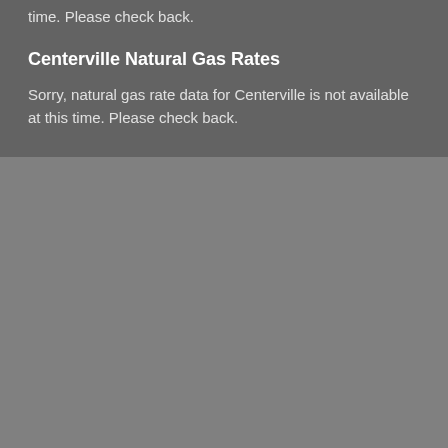time. Please check back.
Centerville Natural Gas Rates
Sorry, natural gas rate data for Centerville is not available at this time. Please check back.